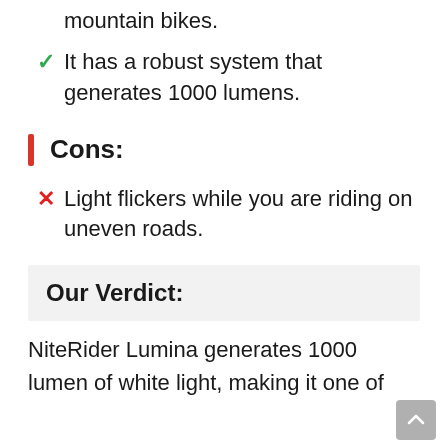mountain bikes.
It has a robust system that generates 1000 lumens.
Cons:
Light flickers while you are riding on uneven roads.
Our Verdict:
NiteRider Lumina generates 1000 lumen of white light, making it one of